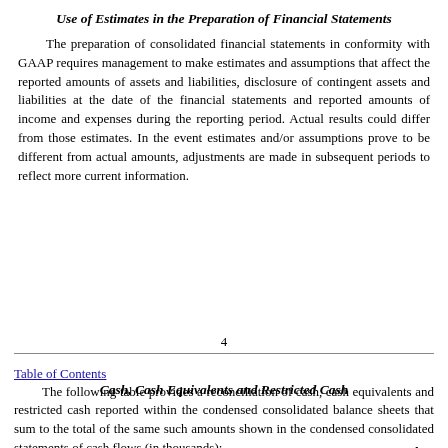Use of Estimates in the Preparation of Financial Statements
The preparation of consolidated financial statements in conformity with GAAP requires management to make estimates and assumptions that affect the reported amounts of assets and liabilities, disclosure of contingent assets and liabilities at the date of the financial statements and reported amounts of income and expenses during the reporting period. Actual results could differ from those estimates. In the event estimates and/or assumptions prove to be different from actual amounts, adjustments are made in subsequent periods to reflect more current information.
4
Table of Contents
Cash, Cash Equivalents and Restricted Cash
The following table provides a reconciliation of cash, cash equivalents and restricted cash reported within the condensed consolidated balance sheets that sum to the total of the same such amounts shown in the condensed consolidated statements of cash flows (in thousands):
June 30,    December